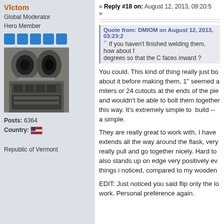Vlctom
Global Moderator
Hero Member
[Figure (photo): Avatar photo showing motorcycle exhaust pipes]
Posts: 6364
Country: [US flag]
Republic of Vermont
« Reply #18 on: August 12, 2013, 09:20:5
»
Quote from: DMIOM on August 12, 2013, 03:23:2
If you haven't finished welding them, how about flipping them degrees so that the C faces inward ?
You could. This kind of thing really just bo about it before making them, 1" seemed a miters or 24 cutouts at the ends of the pie and wouldn't be able to bolt them together this way. It's extremely simple to  build -- a simple.
They are really great to work with, I have extends all the way around the flask, very really pull and go together nicely. Hard to also stands up on edge very positively ev things i noticed, compared to my wooden
EDIT: Just noticed you said flip only the lo work. Personal preference again.